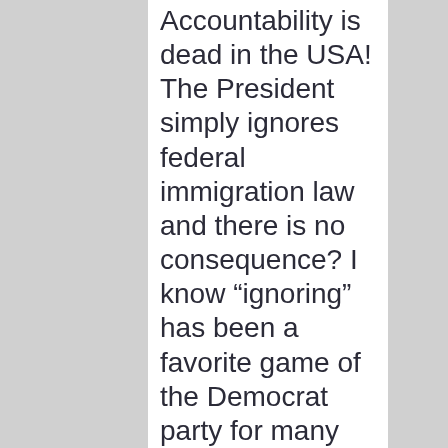Accountability is dead in the USA! The President simply ignores federal immigration law and there is no consequence? I know “ignoring” has been a favorite game of the Democrat party for many years …… although we now have a Deadly virus that is being spread over the border through to...